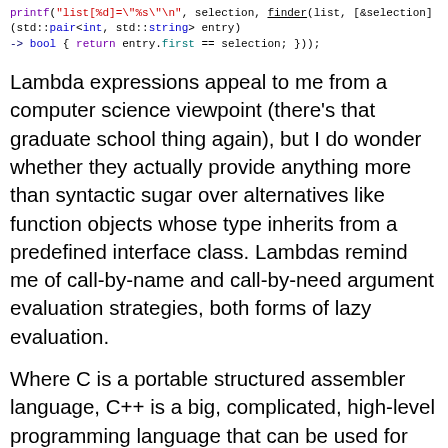printf("list[%d]="%s"\n", selection, finder(list, [&selection] (std::pair<int, std::string> entry) -> bool { return entry.first == selection; }));
Lambda expressions appeal to me from a computer science viewpoint (there's that graduate school thing again), but I do wonder whether they actually provide anything more than syntactic sugar over alternatives like function objects whose type inherits from a predefined interface class. Lambdas remind me of call-by-name and call-by-need argument evaluation strategies, both forms of lazy evaluation.
Where C is a portable structured assembler language, C++ is a big, complicated, high-level programming language that can be used for applications programming or for systems programming. It has a lot more knobs to turn than C, and some of those knobs are best left alone unless you really know what you are doing. In my opinion it is much easier to write poor and/or incomprehensible code in C++ than it is in C. And this is coming from someone who has written hundreds of thousands of lines of production C and C++ code for products that have shipped, and who was mentored by colleagues at Bell Labs, which had a long history of using C++ in embedded and real-time applications. One of my ol...